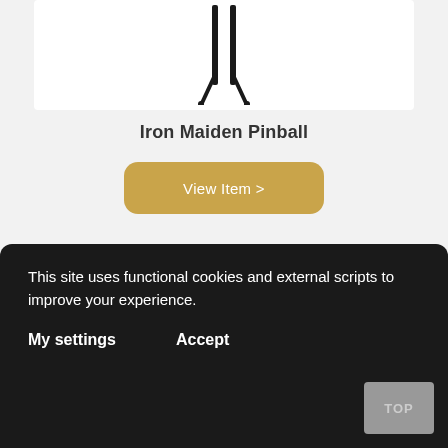[Figure (photo): Product photo of Iron Maiden Pinball machine top portion on white background]
Iron Maiden Pinball
View Item >
[Figure (photo): Product photo of Jurassic Park Pinball machine on white background]
This site uses functional cookies and external scripts to improve your experience.
My settings
Accept
TOP